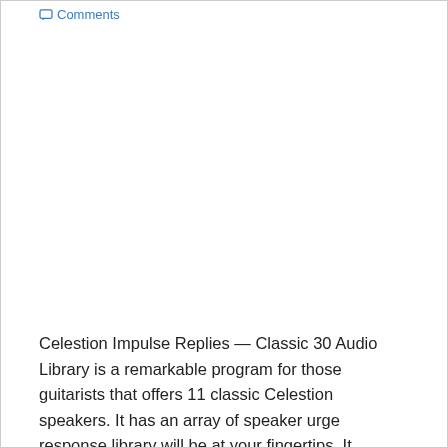Comments
Celestion Impulse Replies — Classic 30 Audio Library is a remarkable program for those guitarists that offers 11 classic Celestion speakers. It has an array of speaker urge response library will be at your fingertips. It permits you to try out an entire assortment of playing styles and genres. Get More